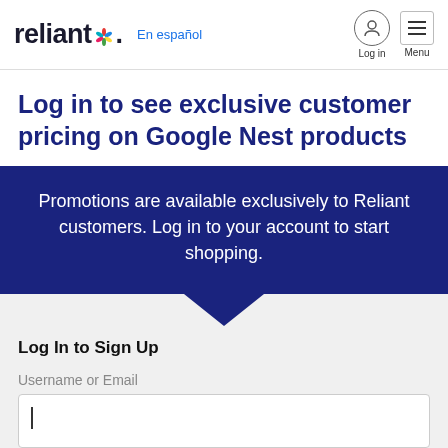reliant. | En español | Log in | Menu
Log in to see exclusive customer pricing on Google Nest products
Promotions are available exclusively to Reliant customers. Log in to your account to start shopping.
Log In to Sign Up
Username or Email